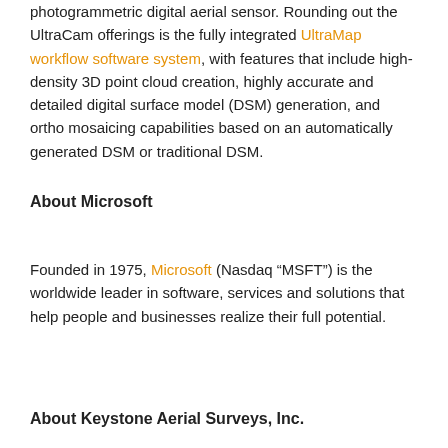photogrammetric digital aerial sensor. Rounding out the UltraCam offerings is the fully integrated UltraMap workflow software system, with features that include high-density 3D point cloud creation, highly accurate and detailed digital surface model (DSM) generation, and ortho mosaicing capabilities based on an automatically generated DSM or traditional DSM.
About Microsoft
Founded in 1975, Microsoft (Nasdaq “MSFT”) is the worldwide leader in software, services and solutions that help people and businesses realize their full potential.
About Keystone Aerial Surveys, Inc.